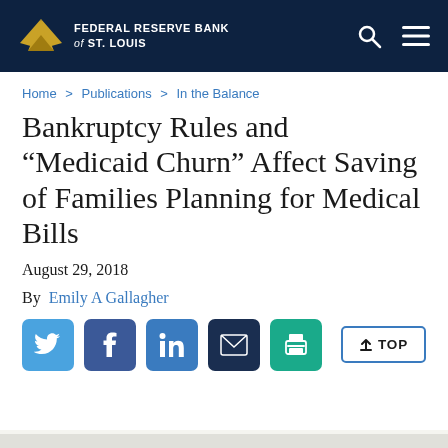FEDERAL RESERVE BANK of ST. LOUIS
Home > Publications > In the Balance
Bankruptcy Rules and “Medicaid Churn” Affect Saving of Families Planning for Medical Bills
August 29, 2018
By  Emily A Gallagher
[Figure (infographic): Social share buttons: Twitter, Facebook, LinkedIn, Email, Print]
↑ TOP